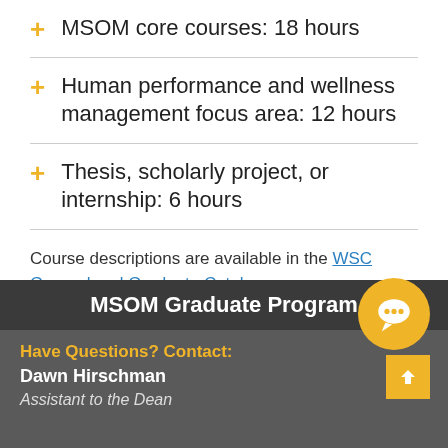MSOM core courses: 18 hours
Human performance and wellness management focus area: 12 hours
Thesis, scholarly project, or internship: 6 hours
Course descriptions are available in the WSC General and Graduate Catalog.
MSOM Graduate Program
Have Questions? Contact:
Dawn Hirschman
Assistant to the Dean